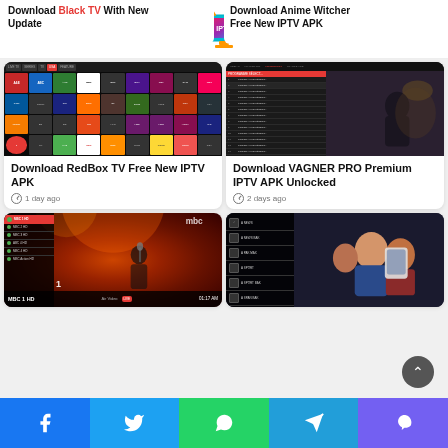Navigation bar with hamburger menu, site logo, and search icon
[Figure (screenshot): Partial article card: Download Black TV With New Update at top left (partially cut off)]
[Figure (screenshot): Partial article card: Download Anime Witcher Free New IPTV APK at top right (partially cut off)]
[Figure (screenshot): RedBox TV app screenshot showing channel grid with logos]
Download RedBox TV Free New IPTV APK
1 day ago
[Figure (screenshot): VAGNER PRO IPTV app screenshot showing channel list and video preview]
Download VAGNER PRO Premium IPTV APK Unlocked
2 days ago
[Figure (screenshot): MBC 1 HD IPTV app screenshot showing channel list and concert performance]
[Figure (screenshot): IPTV app screenshot showing channel list (A NEWS, A NEWS BAK, A PAK MAX, A SPORT, etc.) and people smiling]
Social share buttons: Facebook, Twitter, WhatsApp, Telegram, Viber